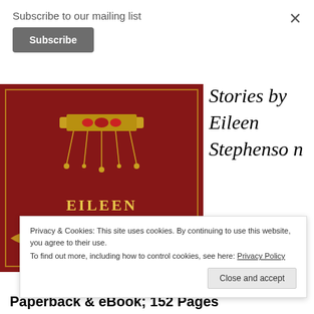Subscribe to our mailing list
Subscribe
[Figure (illustration): Book cover with red background, golden crown/jewel at top, ornate gold decorative border at bottom, text 'EILEEN STEPHENSON' in gold letters]
Stories by Eileen Stephenson
Privacy & Cookies: This site uses cookies. By continuing to use this website, you agree to their use. To find out more, including how to control cookies, see here: Privacy Policy
Close and accept
Paperback & eBook; 152 Pages